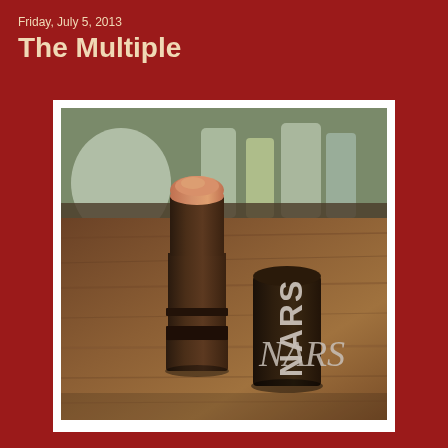Friday, July 5, 2013
The Multiple
[Figure (photo): NARS Multiple cosmetic stick shown uncapped on a wooden surface with makeup products in background. The stick has a peach/coral tone product visible on top, dark brown cylinder body, and the cap showing NARS logo in white lettering placed beside it.]